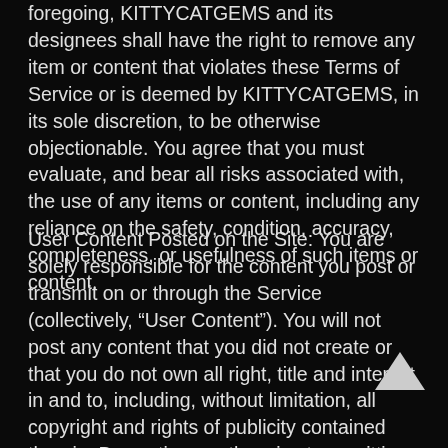foregoing, KITTYCATGEMS and its designees shall have the right to remove any item or content that violates these Terms of Service or is deemed by KITTYCATGEMS, in its sole discretion, to be otherwise objectionable. You agree that you must evaluate, and bear all risks associated with, the use of any items or content, including any reliance on the safety, condition, accuracy, completeness, or usefulness of such items or content.
User Content Posted on the Site: You are solely responsible for the content you post or transmit on or through the Service (collectively, “User Content”). You will not post any content that you did not create or that you do not own all right, title and interest in and to, including, without limitation, all copyright and rights of publicity contained therein. By posting or otherwise transmitting any User Content you hereby grant and will grant to KITTYCATGEMS and its affiliated companies a nonexclusive, worldwide, royalty free, fully paid up, transferable, sublicenseable, perpetual, irrevocable license